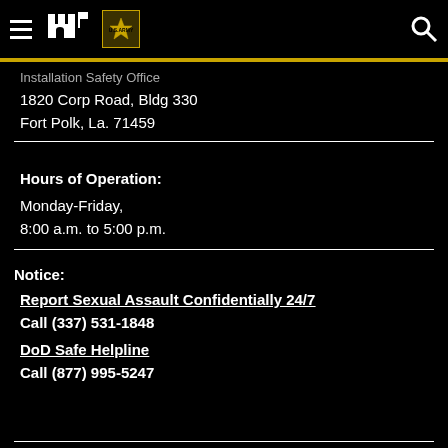Navigation bar with hamburger menu, castle icon, Army logo, and search icon
Installation Safety Office
1820 Corp Road, Bldg 330
Fort Polk, La. 71459
Hours of Operation:
Monday-Friday,
8:00 a.m. to 5:00 p.m.
Notice:
Report Sexual Assault Confidentially 24/7
Call (337) 531-1848
DoD Safe Helpline
Call (877) 995-5247